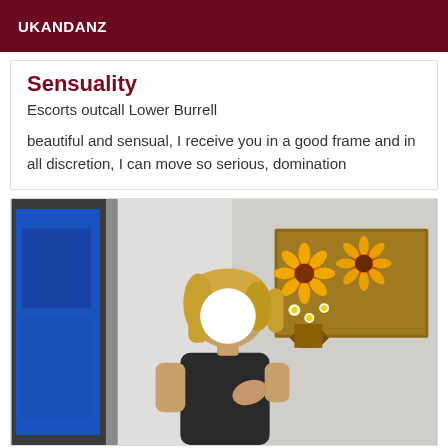UKANDANZ
Sensuality
Escorts outcall Lower Burrell
beautiful and sensual, I receive you in a good frame and in all discretion, I can move so serious, domination
[Figure (photo): Person with blonde hair and blurred/white oval face standing in a room. Behind them is a doorway/mirror showing a blue TV screen on the left and a colorful sunflower painting on the right wall.]